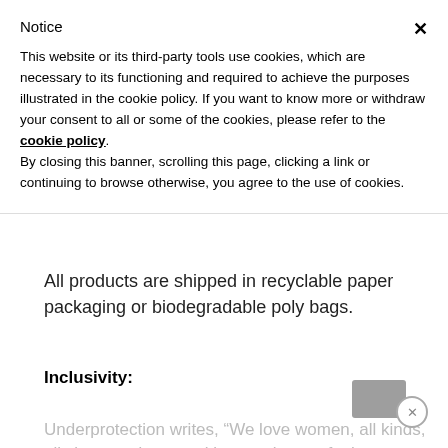Notice
This website or its third-party tools use cookies, which are necessary to its functioning and required to achieve the purposes illustrated in the cookie policy. If you want to know more or withdraw your consent to all or some of the cookies, please refer to the cookie policy. By closing this banner, scrolling this page, clicking a link or continuing to browse otherwise, you agree to the use of cookies.
All products are shipped in recyclable paper packaging or biodegradable poly bags.
Inclusivity:
Underprotection writes, “We love women, all kinds, all sizes, and our goal is to make you feel